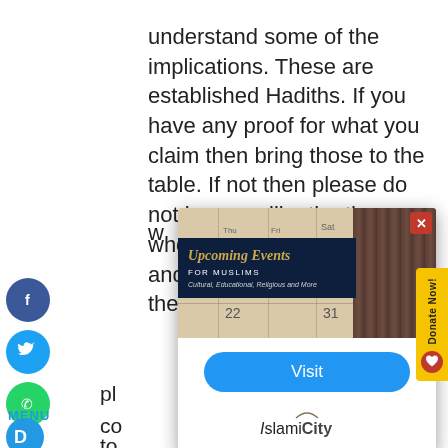understand some of the implications. These are established Hadiths. If you have any proof for what you claim then bring those to the table. If not then please do not become like the those who make Halal into Haram and Haram in to Halal on their w...
[Figure (screenshot): A popup/modal overlay on a webpage showing 'Upcoming Events FOR MUSLIMS - Cultural, Educational, Religious and More' with a calendar background image, a Visit button, and IslamiCity logo. A red close button is in the top right. A yellow 'Donate Now!' button is on the right edge.]
pl... co... Is... to... th... Is...